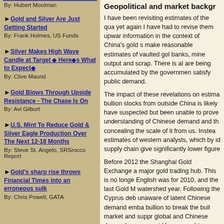Gold and Silver Are Just Getting Started
By: Frank Holmes, US Funds
Silver Makes High Wave Candle at Target ◆ Here◆s What to Expect◆
By: Clive Maund
Gold Blows Through Upside Resistance - The Chase Is On
By: Avi Gilburt
U.S. Mint To Reduce Gold & Silver Eagle Production Over The Next 12-18 Months
By: Steve St. Angelo, SRSrocco Report
Gold's sharp rise throws Financial Times into an erroneous sulk
By: Chris Powell, GATA
Geopolitical and market backgr
I have been revisiting estimates of the qua yet again I have had to revise them upwar information in the context of China's gold s make reasonable estimates of vaulted gol banks, mine output and scrap. There is al are being accumulated by the governmen satisfy public demand.
The impact of these revelations on estima bullion stocks from outside China is likely have suspected but been unable to prove understanding of Chinese demand and th concealing the scale of it from us. Instea estimates of western analysts, which by id supply chain give significantly lower figure
Before 2012 the Shanghai Gold Exchange a major gold trading hub. This is no longe English was for 2010, and the last Gold M watershed year. Following the Cyprus deb unaware of latent Chinese demand emba bullion to break the bull market and suppr global and Chinese demand was so rapid been caught unawares.
I started following China's gold strategy ov own, having been tipped off by a contact t accumulated large amounts of gold before